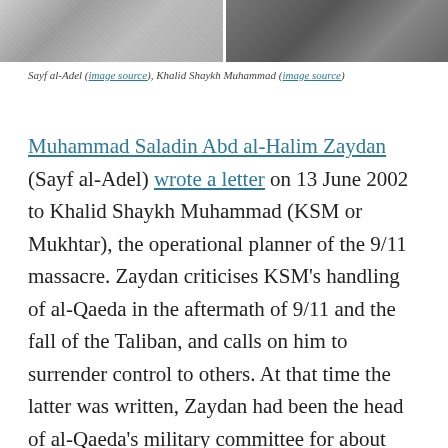[Figure (photo): Two black and white portrait photographs side by side: Sayf al-Adel on the left, Khalid Shaykh Muhammad on the right]
Sayf al-Adel (image source), Khalid Shaykh Muhammad (image source)
Muhammad Saladin Abd al-Halim Zaydan (Sayf al-Adel) wrote a letter on 13 June 2002 to Khalid Shaykh Muhammad (KSM or Mukhtar), the operational planner of the 9/11 massacre. Zaydan criticises KSM's handling of al-Qaeda in the aftermath of 9/11 and the fall of the Taliban, and calls on him to surrender control to others. At that time the latter was written, Zaydan had been the head of al-Qaeda's military committee for about seven months, replacing Muhammad Atef (Abu Hafs al-Masri), who was killed by an American airstrike in Afghanistan in November